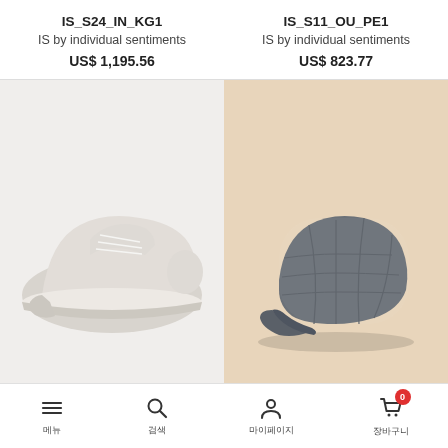IS_S24_IN_KG1
IS by individual sentiments
US$ 1,195.56
IS_S11_OU_PE1
IS by individual sentiments
US$ 823.77
[Figure (photo): White/off-white leather oxford shoe on white background]
[Figure (photo): Dark grey wool newsboy/baker boy cap on beige background]
메뉴 검색 마이페이지 장바구니